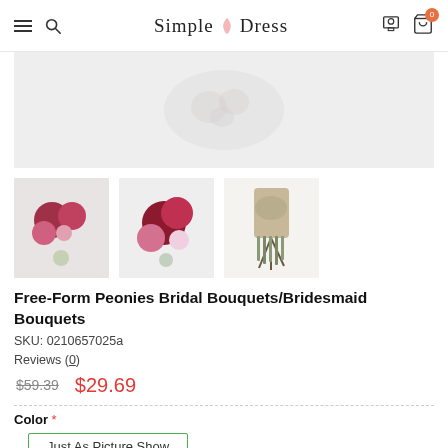Simple Dress
[Figure (photo): Main product image area - light gray background with faint floral bouquet]
[Figure (photo): Thumbnail 1: Peonies bouquet with red and pink flowers]
[Figure (photo): Thumbnail 2: Close-up of red and pink peonies bouquet]
[Figure (photo): Thumbnail 3: Wrapped handle of bouquet with hemp twine and tassels]
Free-Form Peonies Bridal Bouquets/Bridesmaid Bouquets
SKU: 0210657025a
Reviews (0)
$59.39  $29.69
Color *
Just As Picture Show